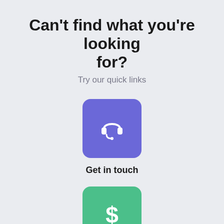Can't find what you're looking for?
Try our quick links
[Figure (illustration): Purple rounded square icon with a headset/customer support symbol in white]
Get in touch
[Figure (illustration): Green rounded square icon with a dollar sign symbol in white]
Billing issues